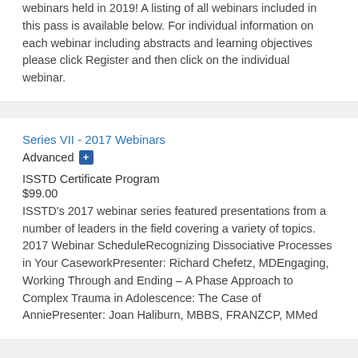webinars held in 2019! A listing of all webinars included in this pass is available below. For individual information on each webinar including abstracts and learning objectives please click Register and then click on the individual webinar.
Series VII - 2017 Webinars
Advanced +
ISSTD Certificate Program
$99.00
ISSTD's 2017 webinar series featured presentations from a number of leaders in the field covering a variety of topics. 2017 Webinar ScheduleRecognizing Dissociative Processes in Your CaseworkPresenter: Richard Chefetz, MDEngaging, Working Through and Ending – A Phase Approach to Complex Trauma in Adolescence: The Case of AnniePresenter: Joan Haliburn, MBBS, FRANZCP, MMed